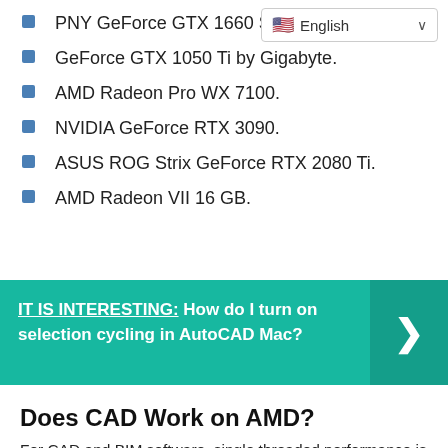PNY GeForce GTX 1660 S…
GeForce GTX 1050 Ti by Gigabyte.
AMD Radeon Pro WX 7100.
NVIDIA GeForce RTX 3090.
ASUS ROG Strix GeForce RTX 2080 Ti.
AMD Radeon VII 16 GB.
[Figure (infographic): Teal banner reading 'IT IS INTERESTING: How do I turn on selection cycling in AutoCAD Mac?' with a right-arrow chevron button on the right side.]
Does CAD Work on AMD?
For CAD and BIM software, single threaded performance is where it counts. Yes, there are some processes within these applications that are multi-threaded, but very few can use all of the AMD Ryzen 9 5950X's 16 cores. And, even if they can, it's often only for short bursts, mixed in with single threaded